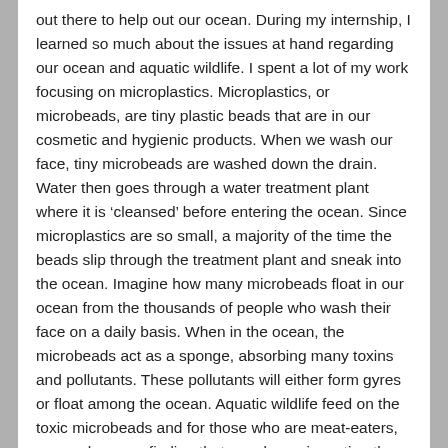out there to help out our ocean. During my internship, I learned so much about the issues at hand regarding our ocean and aquatic wildlife. I spent a lot of my work focusing on microplastics. Microplastics, or microbeads, are tiny plastic beads that are in our cosmetic and hygienic products. When we wash our face, tiny microbeads are washed down the drain. Water then goes through a water treatment plant where it is 'cleansed' before entering the ocean. Since microplastics are so small, a majority of the time the beads slip through the treatment plant and sneak into the ocean. Imagine how many microbeads float in our ocean from the thousands of people who wash their face on a daily basis. When in the ocean, the microbeads act as a sponge, absorbing many toxins and pollutants. These pollutants will either form gyres or float among the ocean. Aquatic wildlife feed on the toxic microbeads and for those who are meat-eaters, researchers are finding that people are ingesting these microplastics as well due to fish consumption.
This was saddening to learn but there are ways to help the ocean and its wildlife. LUSH cosmetics and Native Eyewear